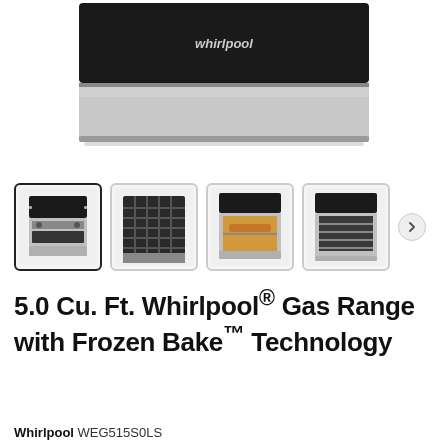[Figure (photo): Main product image: top portion of a Whirlpool stainless steel gas range, cropped, showing control panel with Whirlpool logo and drawer below cooktop]
[Figure (photo): Thumbnail 1 (selected): Whirlpool gas range full front view, stainless steel]
[Figure (photo): Thumbnail 2: Top-down view of gas range grates/burners]
[Figure (photo): Thumbnail 3: Front view of gas range with oven door open showing interior with food]
[Figure (photo): Thumbnail 4: Front view of gas range with oven door open showing empty oven racks]
5.0 Cu. Ft. Whirlpool® Gas Range with Frozen Bake™ Technology
Whirlpool WEG515S0LS